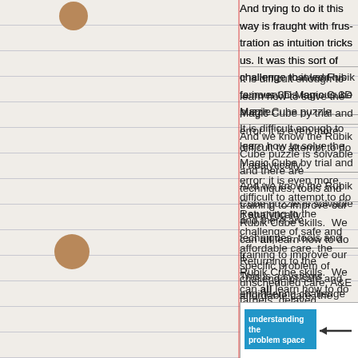And trying to do it this way is fraught with frustration as intuition tricks us. It was this sort of challenge that led Rubik to invent his famous 3D Magic Cube puzzle.
It is difficult enough to learn how to solve the Magic Cube by trial and error; it is even more difficult to attempt to do it analytically.
And we know the Rubik Cube puzzle is solvable and there are techniques, tools and training to improve our Rubik Cube skills. We can all learn how to do it.
Returning to the challenge of safe and affordable care, the specific problem of unscheduled care, A&E targets, delayed transfers of care (DTOC), finance, fragmentation and chronic frailty...
This is a systems engineering challenge so we need to apply engineering techniques, tools and training before we keep failing repeatedly.
[Figure (infographic): Box with blue label 'understanding the problem space' and an arrow pointing left]